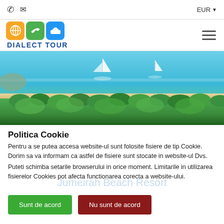EUR ▼
[Figure (logo): Dialect Tour logo with globe, plane, and ship icons in orange, green, and blue rounded squares, with DIALECT TOUR text in blue]
[Figure (photo): Aerial photo of a tropical beach resort with blue sea, sailboats, sandy beach, and dense palm trees in the foreground]
Politica Cookie
Pentru a se putea accesa website-ul sunt folosite fisiere de tip Cookie. Dorim sa va informam ca astfel de fisiere sunt stocate in website-ul Dvs.
Puteti schimba setarile browserului in orice moment. Limitarile in utilizarea fisierelor Cookies pot afecta functionarea corecta a website-ului.
Jumeirah Beach Resort
Sunt de acord
Nu sunt de acord